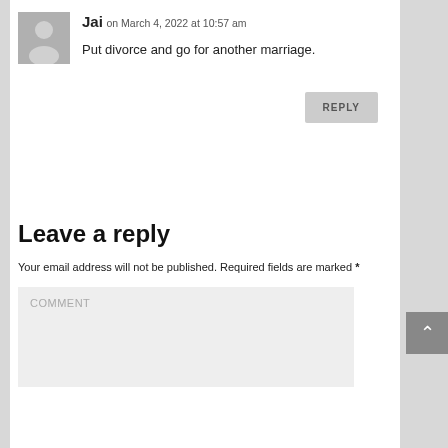Jai on March 4, 2022 at 10:57 am
Put divorce and go for another marriage.
REPLY
Leave a reply
Your email address will not be published. Required fields are marked *
COMMENT